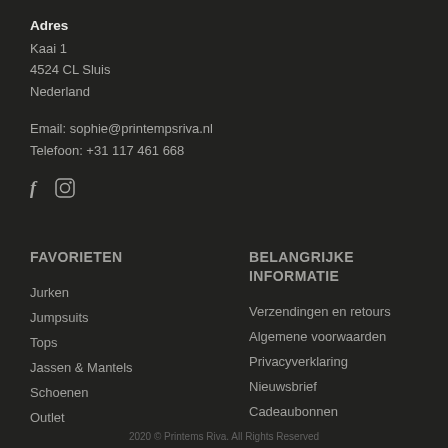Adres
Kaai 1
4524 CL Sluis
Nederland
Email: sophie@printempsriva.nl
Telefoon: +31 117 461 668
[Figure (other): Social media icons: Facebook (f) and Instagram (camera icon)]
FAVORIETEN
Jurken
Jumpsuits
Tops
Jassen & Mantels
Schoenen
Outlet
BELANGRIJKE INFORMATIE
Verzendingen en retours
Algemene voorwaarden
Privacyverklaring
Nieuwsbrief
Cadeaubonnen
2020 © Printems Riva. All Rights Reserved